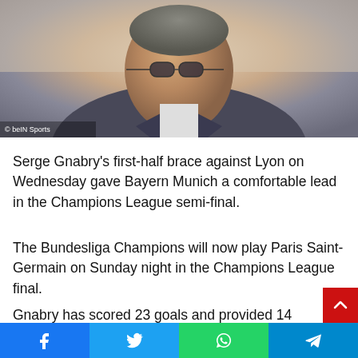[Figure (photo): An elderly man wearing glasses and a checkered jacket, appears to be on a video call. Watermark reads '© beIN Sports' in the bottom left corner.]
Serge Gnabry's first-half brace against Lyon on Wednesday gave Bayern Munich a comfortable lead in the Champions League semi-final.
The Bundesliga Champions will now play Paris Saint-Germain on Sunday night in the Champions League final.
Gnabry has scored 23 goals and provided 14 assists acros...